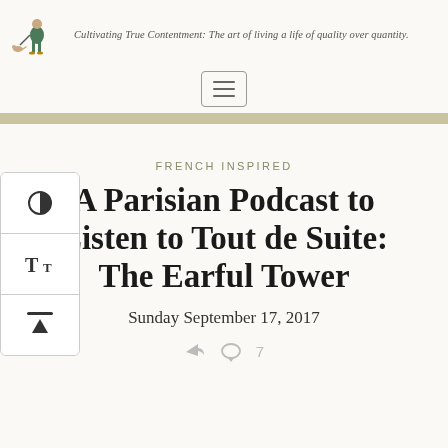Cultivating True Contentment: The art of living a life of quality over quantity.
FRENCH INSPIRED
A Parisian Podcast to Listen to Tout de Suite: The Earful Tower
Sunday September 17, 2017